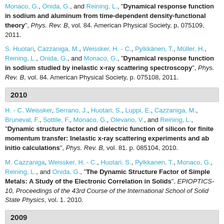Monaco, G., Onida, G., and Reining, L., "Dynamical response function in sodium and aluminum from time-dependent density-functional theory", Phys. Rev. B, vol. 84. American Physical Society, p. 075109, 2011.
S. Huotari, Cazzaniga, M., Weissker, H. - C., Pylkkänen, T., Müller, H., Reining, L., Onida, G., and Monaco, G., "Dynamical response function in sodium studied by inelastic x-ray scattering spectroscopy", Phys. Rev. B, vol. 84. American Physical Society, p. 075108, 2011.
2010
H. - C. Weissker, Serrano, J., Huotari, S., Luppi, E., Cazzaniga, M., Bruneval, F., Sottile, F., Monaco, G., Olevano, V., and Reining, L., "Dynamic structure factor and dielectric function of silicon for finite momentum transfer: Inelastic x-ray scattering experiments and ab initio calculations", Phys. Rev. B, vol. 81. p. 085104, 2010.
M. Cazzaniga, Weissker, H. - C., Huotari, S., Pylkkanen, T., Monaco, G., Reining, L., and Onida, G., "The Dynamic Structure Factor of Simple Metals: A Study of the Electronic Correlation in Solids", EPIOPTICS-10, Proceedings of the 43rd Course of the International School of Solid State Physics, vol. 1. 2010.
2009